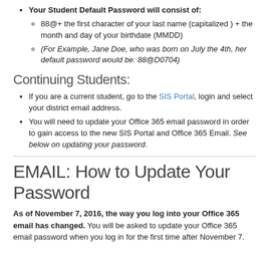Your Student Default Password will consist of:
88@+ the first character of your last name (capitalized ) + the month and day of your birthdate (MMDD)
(For Example, Jane Doe, who was born on July the 4th, her default password would be: 88@D0704)
Continuing Students:
If you are a current student, go to the SIS Portal, login and select your district email address.
You will need to update your Office 365 email password in order to gain access to the new SIS Portal and Office 365 Email. See below on updating your password.
EMAIL: How to Update Your Password
As of November 7, 2016, the way you log into your Office 365 email has changed. You will be asked to update your Office 365 email password when you log in for the first time after November 7.